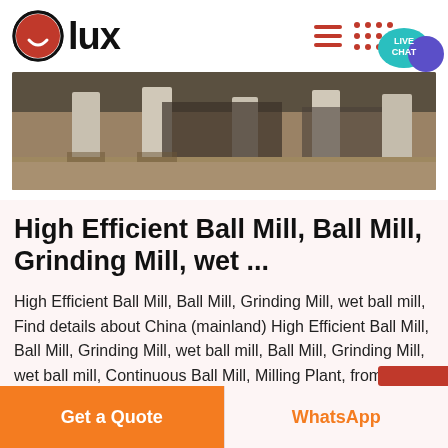lux
[Figure (photo): Construction site with concrete pillars and dirt ground, industrial machinery visible in background]
High Efficient Ball Mill, Ball Mill, Grinding Mill, wet ...
High Efficient Ball Mill, Ball Mill, Grinding Mill, wet ball mill, Find details about China (mainland) High Efficient Ball Mill, Ball Mill, Grinding Mill, wet ball mill, Ball Mill, Grinding Mill, wet ball mill, Continuous Ball Mill, Milling Plant, from Stone Crushers suppliers and